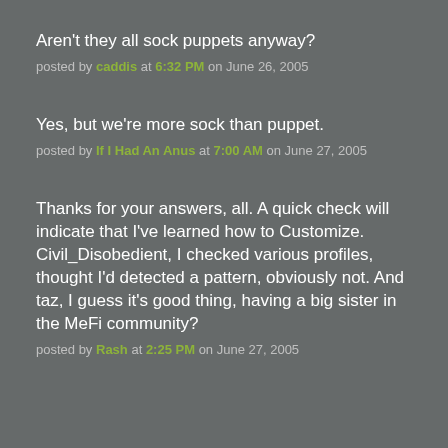Aren't they all sock puppets anyway?
posted by caddis at 6:32 PM on June 26, 2005
Yes, but we're more sock than puppet.
posted by If I Had An Anus at 7:00 AM on June 27, 2005
Thanks for your answers, all. A quick check will indicate that I've learned how to Customize. Civil_Disobedient, I checked various profiles, thought I'd detected a pattern, obviously not. And taz, I guess it's good thing, having a big sister in the MeFi community?
posted by Rash at 2:25 PM on June 27, 2005